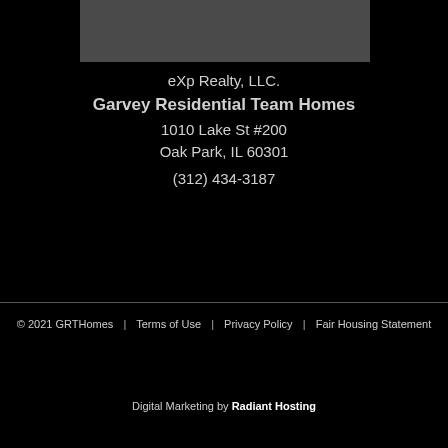[Figure (other): Gray rectangle banner/logo area at top center]
eXp Realty, LLC.
Garvey Residential Team Homes
1010 Lake St #200
Oak Park, IL 60301
(312) 434-3187
© 2021 GRTHomes  |  Terms of Use  |  Privacy Policy  |  Fair Housing Statement
Digital Marketing by Radiant Hosting